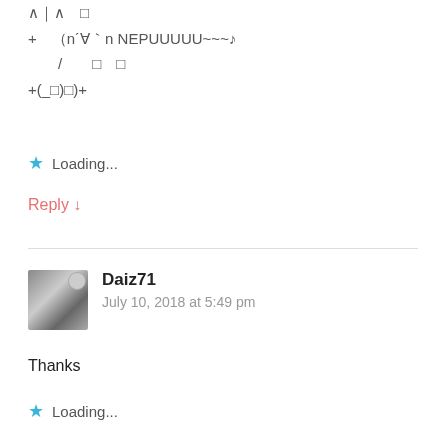∧｜∧　□
+　（n´∀｀n NEPUUUUU~~~♪
　　/　　□　□
+(_□)□)+
★ Loading...
Reply ↓
Daiz71
July 10, 2018 at 5:49 pm
Thanks
★ Loading...